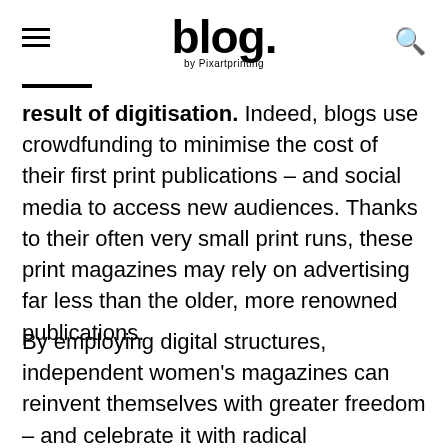blog. by Pixartprinting
result of digitisation. Indeed, blogs use crowdfunding to minimise the cost of their first print publications – and social media to access new audiences. Thanks to their often very small print runs, these print magazines may rely on advertising far less than the older, more renowned publications.
By employing digital structures, independent women's magazines can reinvent themselves with greater freedom – and celebrate it with radical minimalism, anti-design, and a new aesthetic in